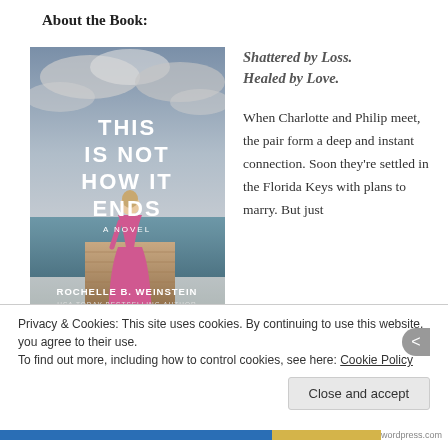About the Book:
[Figure (photo): Book cover of 'This Is Not How It Ends' by Rochelle B. Weinstein, USA Today Bestselling Author. Shows a woman in a pink dress standing on a dock, viewed from behind, with dramatic cloudy sky.]
Shattered by Loss. Healed by Love.
When Charlotte and Philip meet, the pair form a deep and instant connection. Soon they're settled in the Florida Keys with plans to marry. But just
Privacy & Cookies: This site uses cookies. By continuing to use this website, you agree to their use.
To find out more, including how to control cookies, see here: Cookie Policy
Close and accept